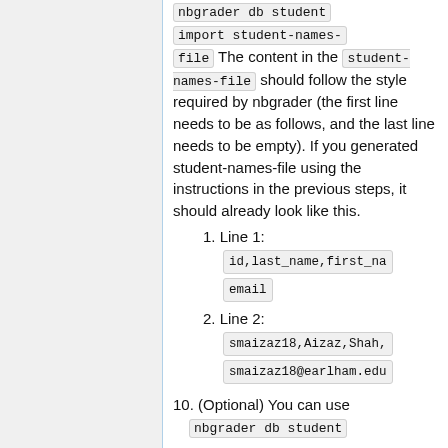nbgrader db student import student-names-file The content in the student-names-file should follow the style required by nbgrader (the first line needs to be as follows, and the last line needs to be empty). If you generated student-names-file using the instructions in the previous steps, it should already look like this.
1. Line 1: id,last_name,first_na email
2. Line 2: smaizaz18,Aizaz,Shah, smaizaz18@earlham.edu
10. (Optional) You can use nbgrader db student